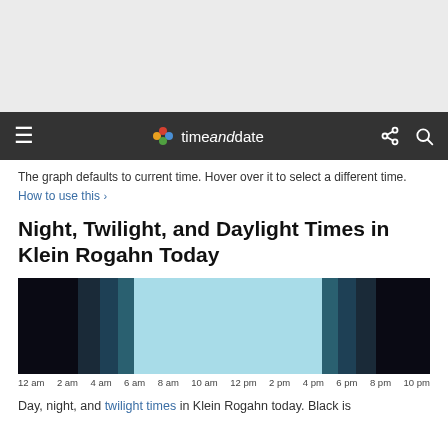[Figure (other): Advertisement / gray placeholder area at top of page]
timeanddate (navigation bar with logo, hamburger menu, share and search icons)
The graph defaults to current time. Hover over it to select a different time. How to use this >
Night, Twilight, and Daylight Times in Klein Rogahn Today
[Figure (bar-chart): Horizontal timeline bar showing night (black) on far left and far right, twilight gradient bands (dark teal shades) transitioning to daylight (light blue) in the middle]
Day, night, and twilight times in Klein Rogahn today. Black is